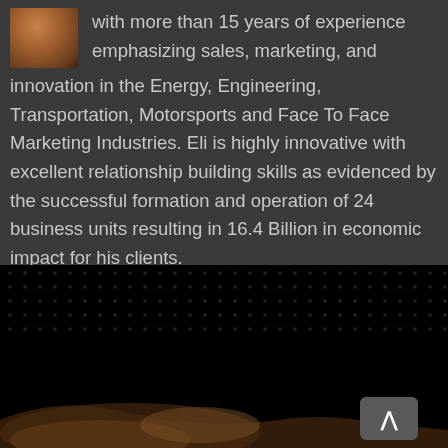with more than 15 years of experience emphasizing sales, marketing, and innovation in the Energy, Engineering, Transportation, Motorsports and Face To Face Marketing Industries. Eli is highly innovative with excellent relationship building skills as evidenced by the successful formation and operation of 24 business units resulting in 16.4 Billion in economic impact for his clients.
[Figure (photo): Dark background with dot pattern overlay and a blurred figure of a person in the lower portion, with a gray back/up navigation button in the lower right area.]